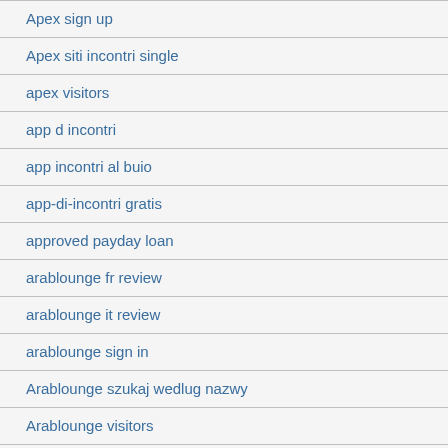Apex sign up
Apex siti incontri single
apex visitors
app d incontri
app incontri al buio
app-di-incontri gratis
approved payday loan
arablounge fr review
arablounge it review
arablounge sign in
Arablounge szukaj wedlug nazwy
Arablounge visitors
arablounge-inceleme visitors
arablounge-recenze VyhledГЎvГЎnГ
Archivo: Q'Carly Anti